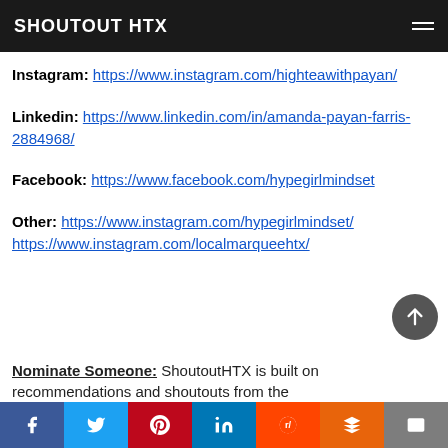SHOUTOUT HTX
Instagram: https://www.instagram.com/highteawithpayan/
Linkedin: https://www.linkedin.com/in/amanda-payan-farris-2884968/
Facebook: https://www.facebook.com/hypegirlmindset
Other: https://www.instagram.com/hypegirlmindset/ https://www.instagram.com/localmarqueehtx/
Nominate Someone: ShoutoutHTX is built on recommendations and shoutouts from the